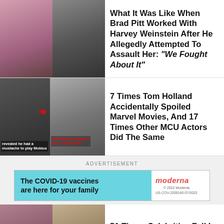[Figure (photo): Two side-by-side celebrity photos: Angelina Jolie and Brad Pitt on the left, Harvey Weinstein with someone on the right]
Angelina Jolie Opened Up About What It Was Like When Brad Pitt Worked With Harvey Weinstein After He Allegedly Attempted To Assault Her: “We Fought About It”
[Figure (photo): Two side-by-side photos: left shows actor with caption 'revealed he had a mustache to play Mobius', right shows two men with caption 'received an ominous text: Strike One' with red arrow overlay]
7 Times Tom Holland Accidentally Spoiled Marvel Movies, And 17 Times Other MCU Actors Did The Same
ADVERTISEMENT
[Figure (other): Moderna COVID-19 vaccine advertisement banner. Left side cyan/teal background with bold text: 'The COVID-19 vaccines are here for your family'. Right side white with Moderna logo in red and fine print '© 2022 Moderna, US-COV-2200160 07/2022']
[Figure (photo): Four celebrity photos side by side, two on the left group and two on the right. Left group has caption 'Played siblings on TV' in yellow text.]
51 Times Celebrities Fell In Love With People They Worked With And Lived Happily Ever After